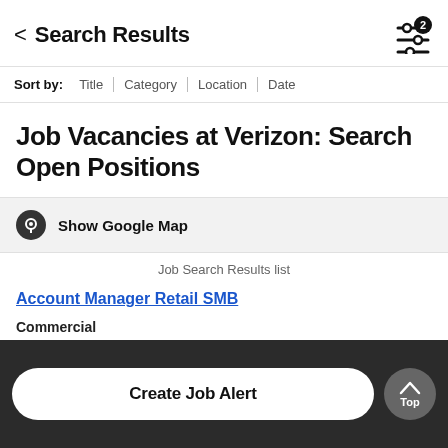Search Results
Sort by: Title | Category | Location | Date
Job Vacancies at Verizon: Search Open Positions
Show Google Map
Job Search Results list
Account Manager Retail SMB
Commercial
Dallas, TX
2022-08-23
Create Job Alert